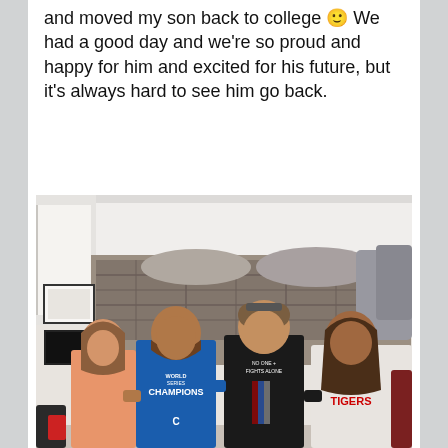and moved my son back to college 🙂 We had a good day and we're so proud and happy for him and excited for his future, but it's always hard to see him go back.
[Figure (photo): Family photo of four people standing together in a college dorm room. From left: a young girl in a pink shirt, a man in a blue Chicago Cubs World Series Champions t-shirt, a young man in a black 'No One Fights Alone' shirt, and a woman in a white shirt with 'Tigers' text. A lofted bed with gray/plaid bedding is visible behind them along with framed items on the wall.]